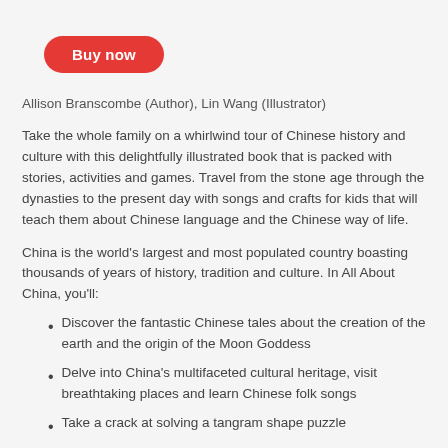[Figure (other): Red rounded rectangle button with white text 'Buy now']
Allison Branscombe (Author), Lin Wang (Illustrator)
Take the whole family on a whirlwind tour of Chinese history and culture with this delightfully illustrated book that is packed with stories, activities and games. Travel from the stone age through the dynasties to the present day with songs and crafts for kids that will teach them about Chinese language and the Chinese way of life.
China is the world's largest and most populated country boasting thousands of years of history, tradition and culture. In All About China, you'll:
Discover the fantastic Chinese tales about the creation of the earth and the origin of the Moon Goddess
Delve into China's multifaceted cultural heritage, visit breathtaking places and learn Chinese folk songs
Take a crack at solving a tangram shape puzzle